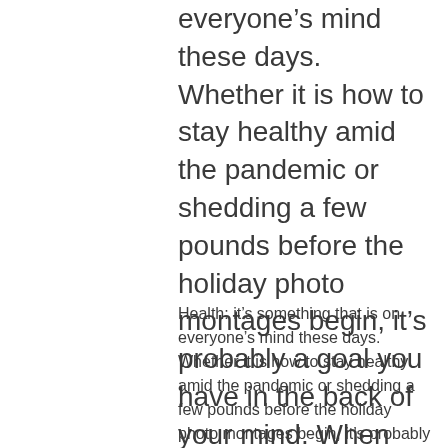everyone's mind these days. Whether it is how to stay healthy amid the pandemic or shedding a few pounds before the holiday photo montages begin, it's probably a goal you have in the back of your mind. When considering health, we typically think of two places we can get
Health: it's something that is on everyone's mind these days. Whether it is how to stay healthy amid the pandemic or shedding a few pounds before the holiday photo montages begin, it's probably a goal you have in the back of your mind. When considering health, we typically